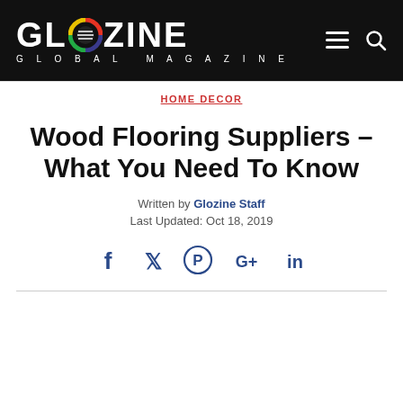GLOZINE GLOBAL MAGAZINE
HOME DECOR
Wood Flooring Suppliers – What You Need To Know
Written by Glozine Staff
Last Updated: Oct 18, 2019
[Figure (infographic): Social media share icons: Facebook, Twitter, Pinterest, Google+, LinkedIn]